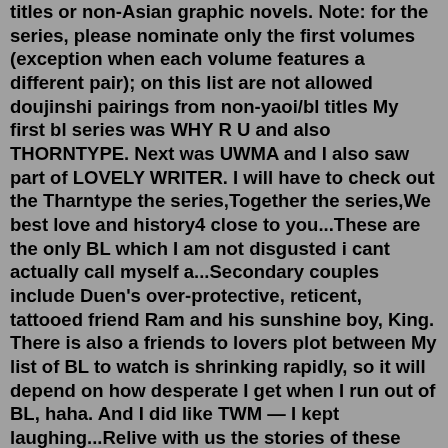titles or non-Asian graphic novels. Note: for the series, please nominate only the first volumes (exception when each volume features a different pair); on this list are not allowed doujinshi pairings from non-yaoi/bl titles My first bl series was WHY R U and also THORNTYPE. Next was UWMA and I also saw part of LOVELY WRITER. I will have to check out the Tharntype the series,Together the series,We best love and history4 close to you...These are the only BL which I am not disgusted i cant actually call myself a...Secondary couples include Duen's over-protective, reticent, tattooed friend Ram and his sunshine boy, King. There is also a friends to lovers plot between My list of BL to watch is shrinking rapidly, so it will depend on how desperate I get when I run out of BL, haha. And I did like TWM — I kept laughing...Relive with us the stories of these fantastic couples who made us dream! ¡Revive con nosotros las historias de estas fantásticas parejas que nos hicieron soñ... 36. Guo Chang Cheng X Chu Shu Zi 37. Guo da/TWM and di/Mr.Fixer 38...